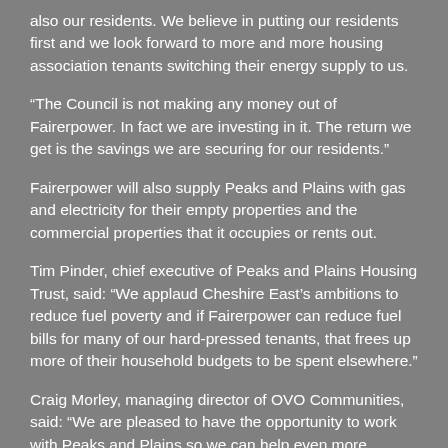also our residents. We believe in putting our residents first and we look forward to more and more housing association tenants switching their energy supply to us.
“The Council is not making any money out of Fairerpower. In fact we are investing in it. The return we get is the savings we are securing for our residents.”
Fairerpower will also supply Peaks and Plains with gas and electricity for their empty properties and the commercial properties that it occupies or rents out.
Tim Pinder, chief executive of Peaks and Plains Housing Trust, said: “We applaud Cheshire East’s ambitions to reduce fuel poverty and if Fairerpower can reduce fuel bills for many of our hard-pressed tenants, that frees up more of their household budgets to be spent elsewhere.”
Craig Morley, managing director of OVO Communities, said: “We are pleased to have the opportunity to work with Peaks and Plains so we can help even more residents get access to a fair deal on their energy.”